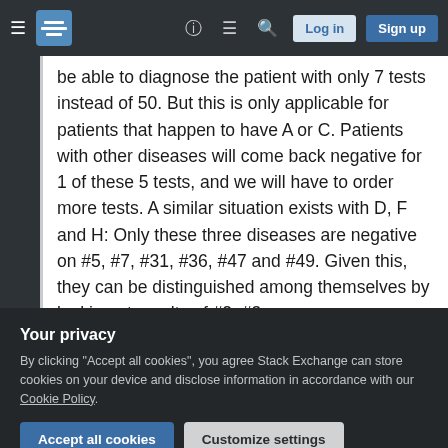Stack Exchange navigation bar with hamburger menu, logo, help, chat, search, Log in and Sign up buttons
be able to diagnose the patient with only 7 tests instead of 50. But this is only applicable for patients that happen to have A or C. Patients with other diseases will come back negative for 1 of these 5 tests, and we will have to order more tests. A similar situation exists with D, F and H: Only these three diseases are negative on #5, #7, #31, #36, #47 and #49. Given this, they can be distinguished among themselves by looking at results of #2, #3
Your privacy
By clicking "Accept all cookies", you agree Stack Exchange can store cookies on your device and disclose information in accordance with our Cookie Policy.
some classes, and most classes require